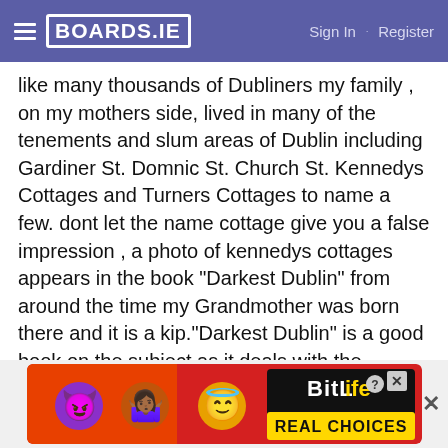BOARDS.IE  Sign In · Register
like many thousands of Dubliners my family , on my mothers side, lived in many of the tenements and slum areas of Dublin including Gardiner St. Domnic St. Church St. Kennedys Cottages and Turners Cottages to name a few. dont let the name cottage give you a false impression , a photo of kennedys cottages appears in the book "Darkest Dublin" from around the time my Grandmother was born there and it is a kip."Darkest Dublin" is a good book on the subject as it deals with the Church St disaster and has many photos of the tenements of the time. my great grandparents lost a couple of children to tenement living and many of them died in early adulthood , maybe due to their early childhood.
[Figure (screenshot): BitLife Real Choices mobile game advertisement banner with cartoon emoji characters on a red background]